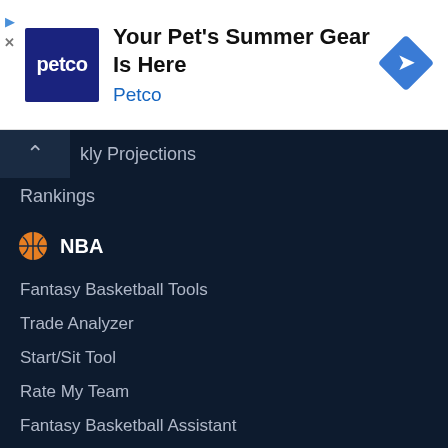[Figure (logo): Petco advertisement banner with Petco logo (dark blue square with white 'petco' text), headline 'Your Pet's Summer Gear Is Here', brand name 'Petco' in blue, and a blue diamond navigation arrow icon on the right]
kly Projections
Rankings
NBA
Fantasy Basketball Tools
Trade Analyzer
Start/Sit Tool
Rate My Team
Fantasy Basketball Assistant
Fantasy Basketball Draft Assistant
Waiver Wire Pickups
Injury News
Average Draft Position